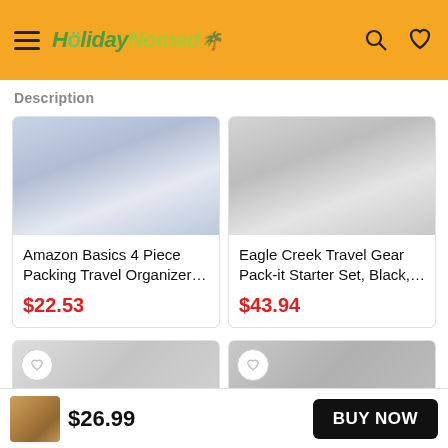HolidayNomad
Description
Amazon Basics 4 Piece Packing Travel Organizer…
$22.53
Eagle Creek Travel Gear Pack-it Starter Set, Black,…
$43.94
$26.99
BUY NOW